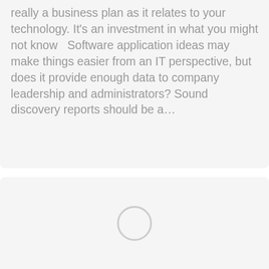really a business plan as it relates to your technology. It's an investment in what you might not know   Software application ideas may make things easier from an IT perspective, but does it provide enough data to company leadership and administrators? Sound discovery reports should be a…
[Figure (other): A loading spinner circle centered in a light gray card area at the bottom of the page]